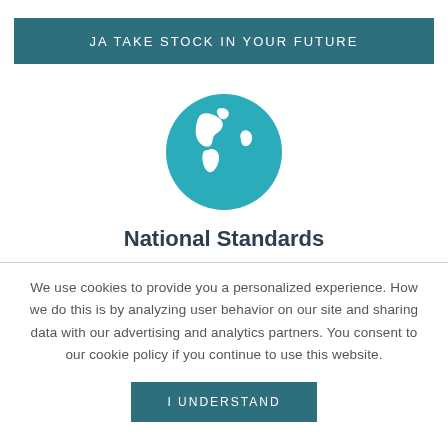JA TAKE STOCK IN YOUR FUTURE
[Figure (illustration): Teal globe icon showing the Americas and a landmass on the right, white silhouette continents on a teal circular background]
National Standards
We use cookies to provide you a personalized experience. How we do this is by analyzing user behavior on our site and sharing data with our advertising and analytics partners. You consent to our cookie policy if you continue to use this website.
I UNDERSTAND